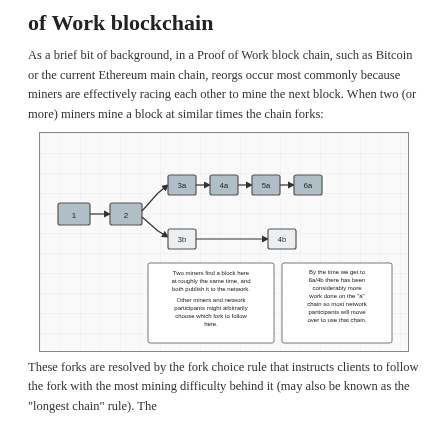of Work blockchain
As a brief bit of background, in a Proof of Work block chain, such as Bitcoin or the current Ethereum main chain, reorgs occur most commonly because miners are effectively racing each other to mine the next block. When two (or more) miners mine a block at similar times the chain forks:
[Figure (flowchart): A blockchain fork diagram showing two chains branching from block 2. The upper chain continues: 3a, 4a, 5a, 6a. The lower chain has: 3b, 4b. Two text boxes below explain: left box says two miners find a block at roughly the same time and both publish it to the network, and other miners/participants might arbitrarily choose which fork to follow here. Right box says by the time we get to 5a/4b there has been considerably more work done on the 'a' chain so most network participants will move over to use that chain.]
These forks are resolved by the fork choice rule that instructs clients to follow the fork with the most mining difficulty behind it (may also be known as the "longest chain" rule). The